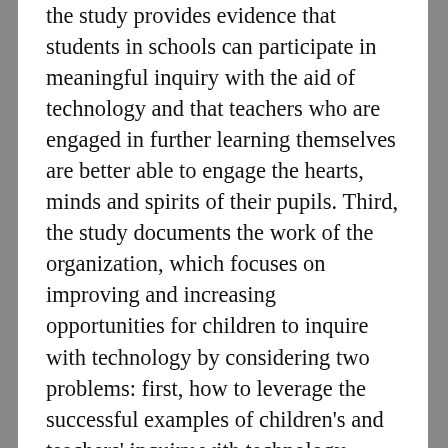the study provides evidence that students in schools can participate in meaningful inquiry with the aid of technology and that teachers who are engaged in further learning themselves are better able to engage the hearts, minds and spirits of their pupils. Third, the study documents the work of the organization, which focuses on improving and increasing opportunities for children to inquire with technology by considering two problems: first, how to leverage the successful examples of children's and teachers' inquiry with technology throughout educational systems and communities and, second, how to build upon knowledge of the essential conditions for children's meaningful learning with technology to guide larger and more widespread educational reform efforts, the conditions of such reform being defined and considered.